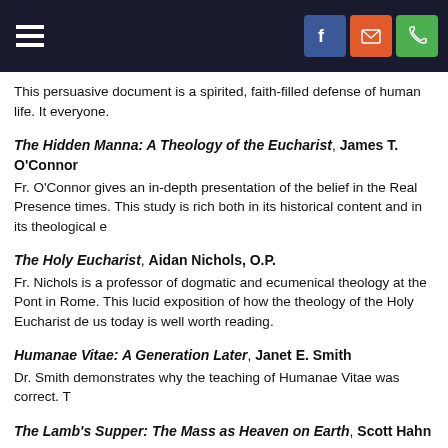Navigation header with hamburger menu, Facebook, email, and phone icons
This persuasive document is a spirited, faith-filled defense of human life. It everyone.
The Hidden Manna: A Theology of the Eucharist, James T. O'Connor
Fr. O'Connor gives an in-depth presentation of the belief in the Real Presence times. This study is rich both in its historical content and in its theological e
The Holy Eucharist, Aidan Nichols, O.P.
Fr. Nichols is a professor of dogmatic and ecumenical theology at the Pont in Rome. This lucid exposition of how the theology of the Holy Eucharist de us today is well worth reading.
Humanae Vitae: A Generation Later, Janet E. Smith
Dr. Smith demonstrates why the teaching of Humanae Vitae was correct. T
The Lamb's Supper: The Mass as Heaven on Earth, Scott Hahn
Using the Book of Revelation as his springboard, Dr. Hahn makes the vital sacrifice on Calvary, the offering of the Mass on earth, and the celebration Lamb in paradise.  This concise little book truly makes the Mass come alive
The Mass: A Biblical Prayer, Peter M. J. Stravinskas